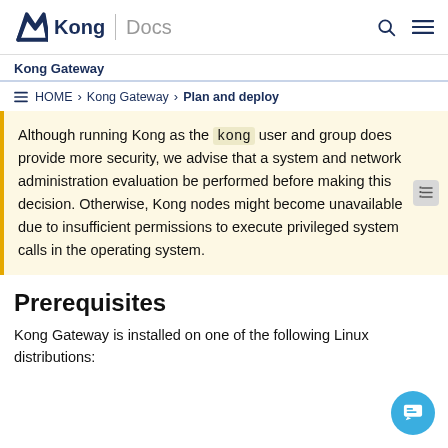Kong | Docs
Kong Gateway
HOME > Kong Gateway > Plan and deploy
Although running Kong as the kong user and group does provide more security, we advise that a system and network administration evaluation be performed before making this decision. Otherwise, Kong nodes might become unavailable due to insufficient permissions to execute privileged system calls in the operating system.
Prerequisites
Kong Gateway is installed on one of the following Linux distributions: